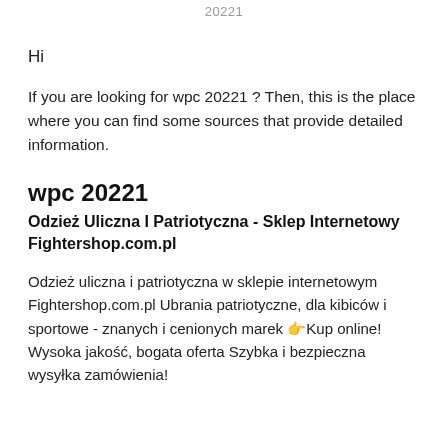20221
Hi
If you are looking for wpc 20221 ? Then, this is the place where you can find some sources that provide detailed information.
wpc 20221
Odzież Uliczna I Patriotyczna - Sklep Internetowy Fightershop.com.pl
Odzież uliczna i patriotyczna w sklepie internetowym Fightershop.com.pl Ubrania patriotyczne, dla kibiców i sportowe - znanych i cenionych marek 👉Kup online! Wysoka jakość, bogata oferta Szybka i bezpieczna wysyłka zamówienia!